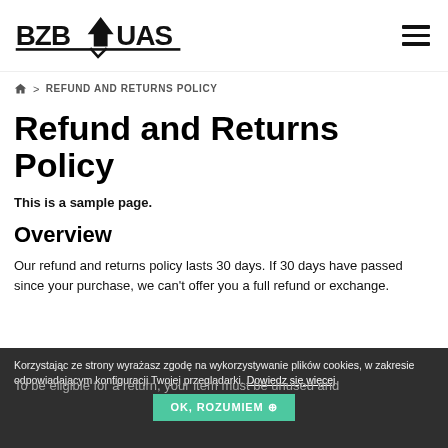[Figure (logo): BZBYUas brand logo with stylized drone/aircraft icon, bold black lettering]
🏠 > REFUND AND RETURNS POLICY
Refund and Returns Policy
This is a sample page.
Overview
Our refund and returns policy lasts 30 days. If 30 days have passed since your purchase, we can't offer you a full refund or exchange.
To be eligible for a return, your item must be unused and in the same condition that you received it. It must also be in the original packaging.
Korzystając ze strony wyrażasz zgodę na wykorzystywanie plików cookies, w zakresie odpowiadającym konfiguracji Twojej przeglądarki. Dowiedz się więcej